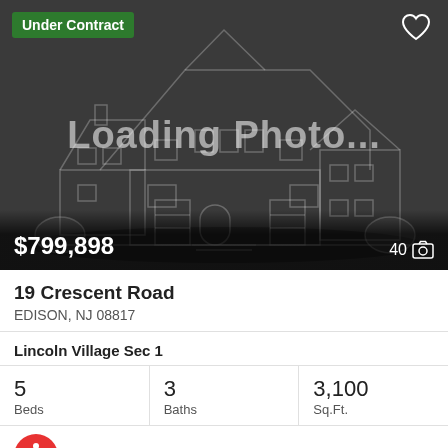[Figure (photo): Real estate listing card photo placeholder showing a house outline illustration with 'Loading Photo...' text overlay on dark gray background. Price $799,898 shown at bottom left, photo count 40 at bottom right. 'Under Contract' green badge top left, heart icon top right.]
19 Crescent Road
EDISON, NJ 08817
Lincoln Village Sec 1
5
Beds
3
Baths
3,100
Sq.Ft.
Exp Realty, Llc